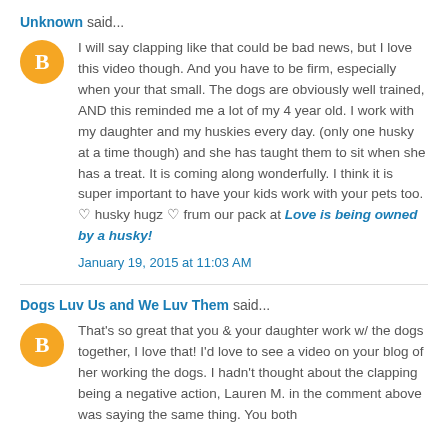Unknown said...
I will say clapping like that could be bad news, but I love this video though. And you have to be firm, especially when your that small. The dogs are obviously well trained, AND this reminded me a lot of my 4 year old. I work with my daughter and my huskies every day. (only one husky at a time though) and she has taught them to sit when she has a treat. It is coming along wonderfully. I think it is super important to have your kids work with your pets too.
♡ husky hugz ♡ frum our pack at Love is being owned by a husky!
January 19, 2015 at 11:03 AM
Dogs Luv Us and We Luv Them said...
That's so great that you & your daughter work w/ the dogs together, I love that! I'd love to see a video on your blog of her working the dogs. I hadn't thought about the clapping being a negative action, Lauren M. in the comment above was saying the same thing. You both